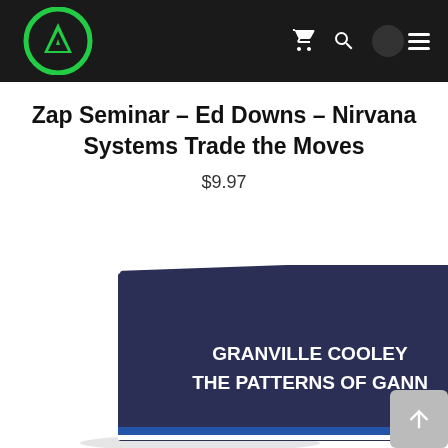Nirvana Systems / Amazon store – site header with logo and navigation icons
Zap Seminar – Ed Downs – Nirvana Systems Trade the Moves
$9.97
[Figure (photo): Book cover image showing 'GRANVILLE COOLEY THE PATTERNS OF GANN' with dark navy background and green Nirvana Systems logo on the right spine. A blue stripe visible at the bottom.]